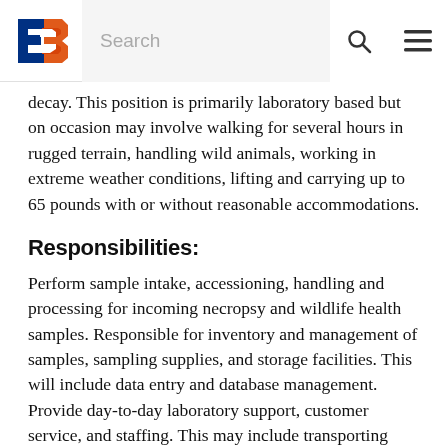B [logo] Search [search icon] [menu icon]
decay. This position is primarily laboratory based but on occasion may involve walking for several hours in rugged terrain, handling wild animals, working in extreme weather conditions, lifting and carrying up to 65 pounds with or without reasonable accommodations.
Responsibilities:
Perform sample intake, accessioning, handling and processing for incoming necropsy and wildlife health samples. Responsible for inventory and management of samples, sampling supplies, and storage facilities. This will include data entry and database management. Provide day-to-day laboratory support, customer service, and staffing. This may include transporting samples and/or materials around the